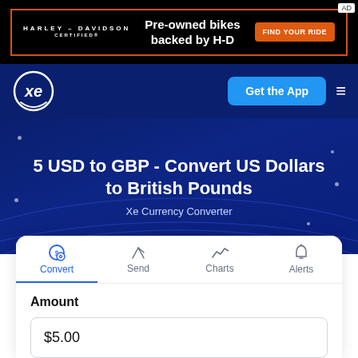[Figure (screenshot): Harley-Davidson Certified advertisement banner: black background with orange border, Harley-Davidson Certified logo, text 'Pre-owned bikes backed by H-D', orange 'FIND YOUR RIDE' button, and 'AD' label.]
[Figure (logo): XE currency logo — white 'xe' text inside a circle on dark blue navigation bar.]
Get the App
5 USD to GBP - Convert US Dollars to British Pounds
Xe Currency Converter
Convert
Send
Charts
Alerts
Amount
$5.00
From